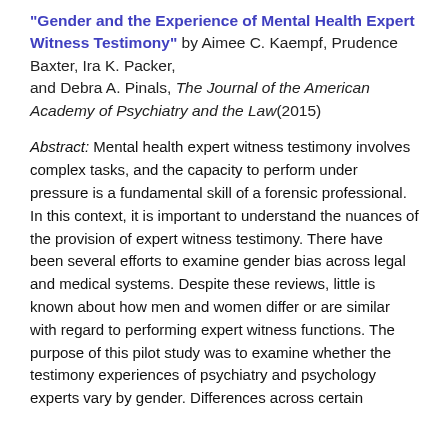"Gender and the Experience of Mental Health Expert Witness Testimony" by Aimee C. Kaempf, Prudence Baxter, Ira K. Packer, and Debra A. Pinals, The Journal of the American Academy of Psychiatry and the Law (2015)
Abstract: Mental health expert witness testimony involves complex tasks, and the capacity to perform under pressure is a fundamental skill of a forensic professional. In this context, it is important to understand the nuances of the provision of expert witness testimony. There have been several efforts to examine gender bias across legal and medical systems. Despite these reviews, little is known about how men and women differ or are similar with regard to performing expert witness functions. The purpose of this pilot study was to examine whether the testimony experiences of psychiatry and psychology experts vary by gender. Differences across certain dimensions between the sexes of expert opinion in psychiatric